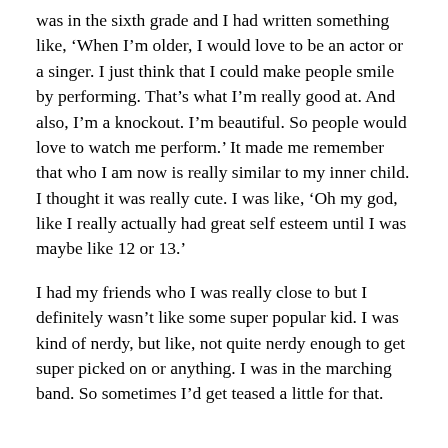was in the sixth grade and I had written something like, ‘When I’m older, I would love to be an actor or a singer. I just think that I could make people smile by performing. That’s what I’m really good at. And also, I’m a knockout. I’m beautiful. So people would love to watch me perform.’ It made me remember that who I am now is really similar to my inner child. I thought it was really cute. I was like, ‘Oh my god, like I really actually had great self esteem until I was maybe like 12 or 13.’
I had my friends who I was really close to but I definitely wasn’t like some super popular kid. I was kind of nerdy, but like, not quite nerdy enough to get super picked on or anything. I was in the marching band. So sometimes I’d get teased a little for that.